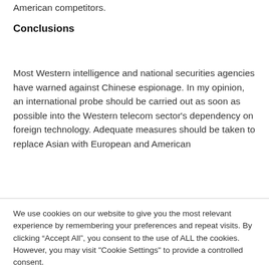American competitors.
Conclusions
Most Western intelligence and national securities agencies have warned against Chinese espionage. In my opinion, an international probe should be carried out as soon as possible into the Western telecom sector's dependency on foreign technology. Adequate measures should be taken to replace Asian with European and American
We use cookies on our website to give you the most relevant experience by remembering your preferences and repeat visits. By clicking “Accept All”, you consent to the use of ALL the cookies. However, you may visit "Cookie Settings" to provide a controlled consent.